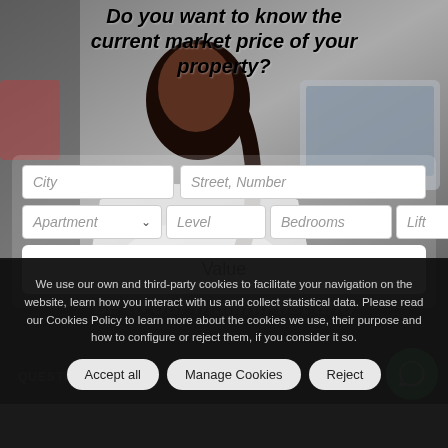[Figure (photo): Woman sitting at a laptop, background hero image for property valuation website]
Do you want to know the current market price of your property?
City | Street, Number | Apartment | Level | Bedrooms | Lift | Value (form fields)
We use our own and third-party cookies to facilitate your navigation on the website, learn how you interact with us and collect statistical data. Please read our Cookies Policy to learn more about the cookies we use, their purpose and how to configure or reject them, if you consider it so.
Accept all | Manage Cookies | Reject